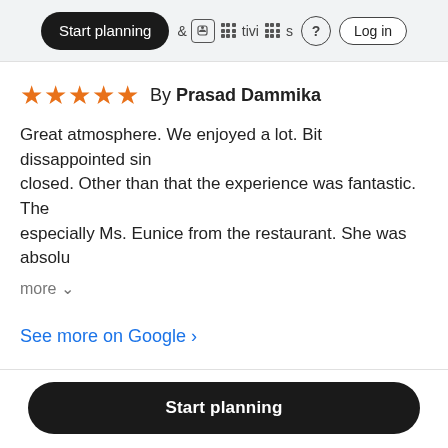Start planning  & Activities  ?  Log in
★★★★★ By Prasad Dammika
Great atmosphere. We enjoyed a lot. Bit dissappointed sin closed. Other than that the experience was fantastic. The especially Ms. Eunice from the restaurant. She was absolu more
See more on Google ›
Start planning